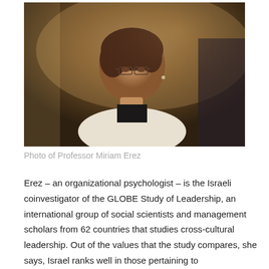[Figure (photo): Photo of Professor Miriam Erez, a woman with dark hair and glasses wearing a white jacket, photographed at an event with blurred background]
Photo of Professor Miriam Erez
Erez – an organizational psychologist – is the Israeli coinvestigator of the GLOBE Study of Leadership, an international group of social scientists and management scholars from 62 countries that studies cross-cultural leadership. Out of the values that the study compares, she says, Israel ranks well in those pertaining to entrepreneurship and innovation. Significantly, though, it has a moderate